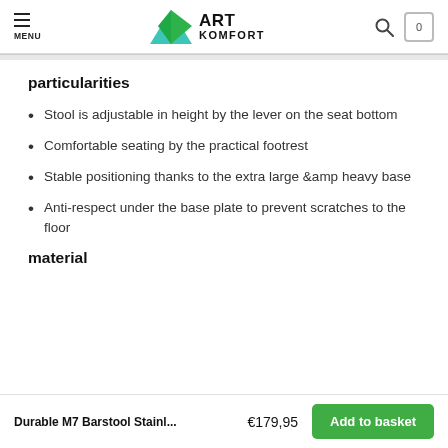MENU | ART KOMFORT
particularities
Stool is adjustable in height by the lever on the seat bottom
Comfortable seating by the practical footrest
Stable positioning thanks to the extra large &amp heavy base
Anti-respect under the base plate to prevent scratches to the floor
material
Durable M7 Barstool Stainl... €179,95 Add to basket